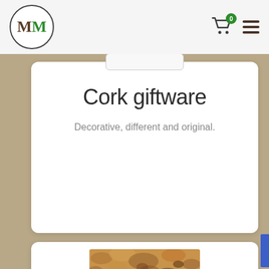MM logo, cart icon with badge 0, menu icon
Cork giftware
Decorative, different and original.
[Figure (photo): Cork texture close-up photo showing natural cork material in brown and tan tones]
De...